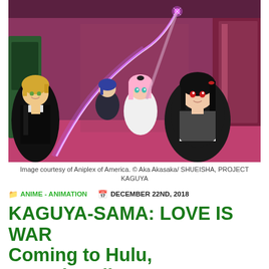[Figure (illustration): Anime illustration showing four characters from Kaguya-sama: Love is War in a hallway setting. A girl with black hair and red eyes in the foreground, a pink-haired girl in the middle, a blonde boy on the left, and another character in the background. A glowing purple-pink magical swirl effect is visible.]
Image courtesy of Aniplex of America. © Aka Akasaka/ SHUEISHA, PROJECT KAGUYA
ANIME - ANIMATION   DECEMBER 22ND, 2018
KAGUYA-SAMA: LOVE IS WAR Coming to Hulu, Crunchyroll, and FunimationNow this